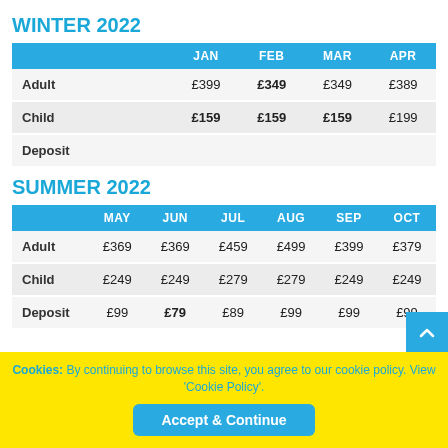WINTER 2022
|  | JAN | FEB | MAR | APR |
| --- | --- | --- | --- | --- |
| Adult | £399 | £349 | £349 | £389 |
| Child | £159 | £159 | £159 | £199 |
| Deposit |  |  |  |  |
SUMMER 2022
|  | MAY | JUN | JUL | AUG | SEP | OCT |
| --- | --- | --- | --- | --- | --- | --- |
| Adult | £369 | £369 | £459 | £499 | £399 | £379 |
| Child | £249 | £249 | £279 | £279 | £249 | £249 |
| Deposit | £99 | £79 | £89 | £99 | £99 | £99 |
Cookies: By continuing to browse this site, you agree to our cookie policy. View 'Cookie Policy'.
Accept & Continue